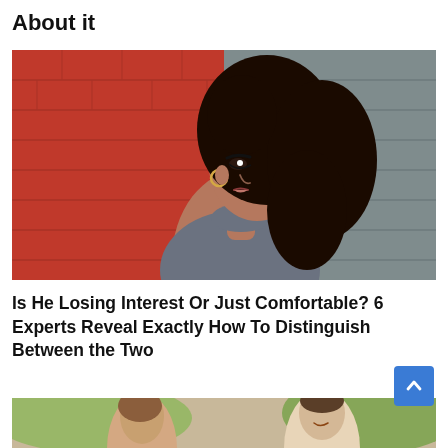About it
[Figure (photo): Woman with curly dark hair in profile view, wearing a grey turtleneck sweater, posed against a half red brick wall and half grey painted brick wall background]
Is He Losing Interest Or Just Comfortable? 6 Experts Reveal Exactly How To Distinguish Between the Two
[Figure (photo): Couple outdoors, partially visible at bottom of page]